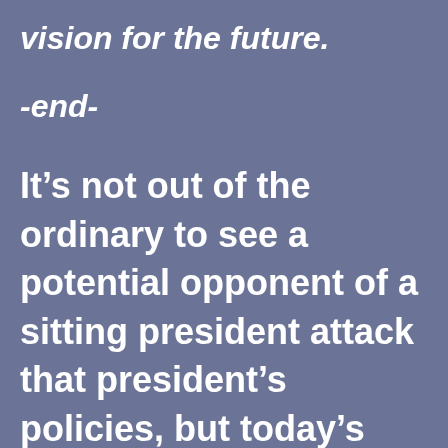vision for the future.
-end-
It’s not out of the ordinary to see a potential opponent of a sitting president attack that president’s policies, but today’s letter seems to go a bit deeper than simply attacking one’s policies,